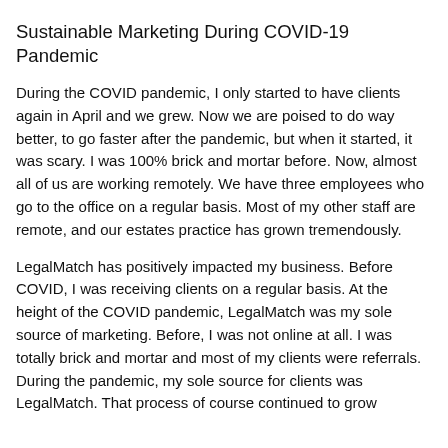Sustainable Marketing During COVID-19 Pandemic
During the COVID pandemic, I only started to have clients again in April and we grew. Now we are poised to do way better, to go faster after the pandemic, but when it started, it was scary. I was 100% brick and mortar before. Now, almost all of us are working remotely. We have three employees who go to the office on a regular basis. Most of my other staff are remote, and our estates practice has grown tremendously.
LegalMatch has positively impacted my business. Before COVID, I was receiving clients on a regular basis. At the height of the COVID pandemic, LegalMatch was my sole source of marketing. Before, I was not online at all. I was totally brick and mortar and most of my clients were referrals. During the pandemic, my sole source for clients was LegalMatch. That process of course continued to grow